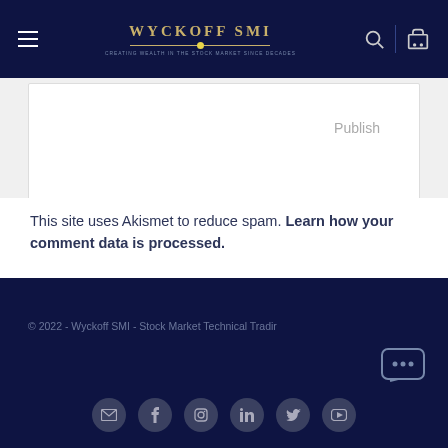WYCKOFF SMI
This site uses Akismet to reduce spam. Learn how your comment data is processed.
© 2022 - Wyckoff SMI - Stock Market Technical Trading